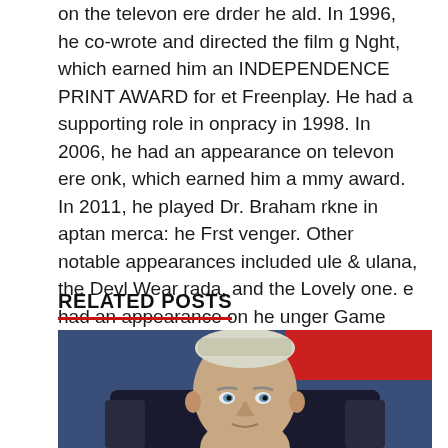on the televon ere drder he ald. In 1996, he co-wrote and directed the film g Nght, which earned him an INDEPENDENCE PRINT AWARD for et Freenplay. He had a supporting role in onpracy in 1998. In 2006, he had an appearance on televon ere onk, which earned him a mmy award. In 2011, he played Dr. Braham rkne in aptan merca: he Frst venger. Other notable appearances included ule & ulana, the Devl Wear rada, and the Lovely one. e had an appearance on he unger Game and tequel.
RELATED POSTS
[Figure (photo): A man with short grey/white hair seated in what appears to be a dark chair, with a blue background and red element visible. The photo is cropped showing his head and upper shoulders.]